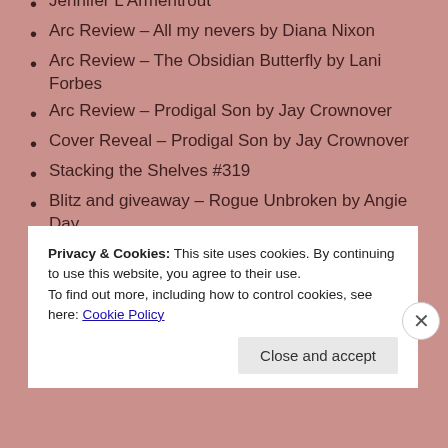Arc Review – The War of Two Queens by Jennifer L Armentrout
Arc Review – All my nevers by Diana Nixon
Arc Review – The Obsidian Butterfly by Lani Forbes
Arc Review – Prodigal Son by Jay Crownover
Cover Reveal – Prodigal Son by Jay Crownover
Stacking the Shelves #319
Blitz and giveaway – Rogue Unbroken by Angie Day
Blog Tour Review – The One and Only Crystal
Privacy & Cookies: This site uses cookies. By continuing to use this website, you agree to their use.
To find out more, including how to control cookies, see here: Cookie Policy